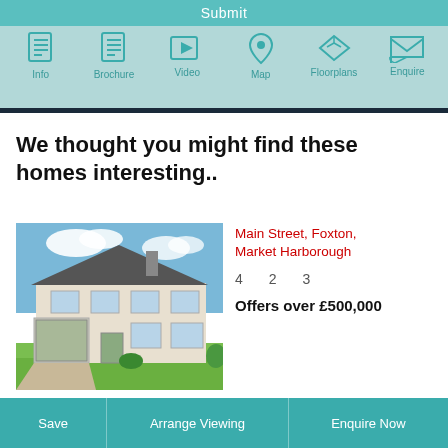Submit | Info | Brochure | Video | Map | Floorplans | Enquire
We thought you might find these homes interesting..
[Figure (photo): Exterior photo of a detached house with grey roof, white/cream walls, light green garage door, blue sky with clouds, green lawn]
Main Street, Foxton, Market Harborough
4    2    3
Offers over £500,000
Save | Arrange Viewing | Enquire Now